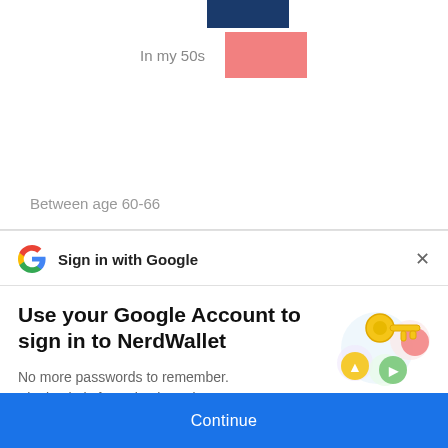[Figure (bar-chart): Partial horizontal bar chart showing age categories: 'In my 50s' row with dark blue and pink bars visible at top.]
In my 50s
Between age 60-66
Age 67
After age 67
[Figure (screenshot): Google Sign-in modal overlay. Header: 'Sign in with Google' with Google G logo and X close button. Body: 'Use your Google Account to sign in to NerdWallet'. Subtitle: 'No more passwords to remember. Signing in is fast, simple and secure.' Key/circles illustration on right. Blue Continue button at bottom.]